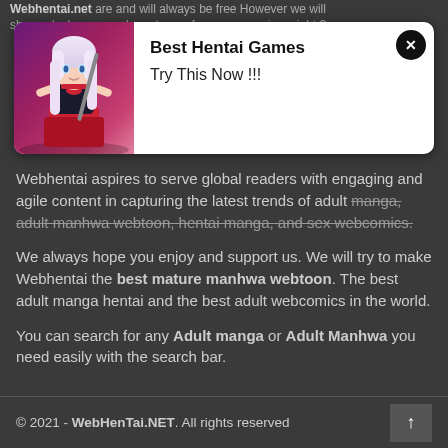Webhentai.net are and will always be free However we will show ads. I mean we have to pay for server services right ?
[Figure (illustration): Advertisement overlay with anime character image on the left and text 'Best Hentai Games - Try This Now !!!' on the right, with a close button (x) in the top right corner of the overlay.]
Webhentai aspires to serve global readers with engaging and agile content in capturing the latest trends of adult manga, adult manhwa webtoon, hentai manga, and sex webcomics.
We always hope you enjoy and support us. We will try to make Webhentai the best mature manhwa webtoon. The best adult manga hentai and the best adult webcomics in the world.
You can search for any Adult manga or Adult Manhwa you need easily with the search bar.
© 2021 - WebHenTai.NET. All rights reserved